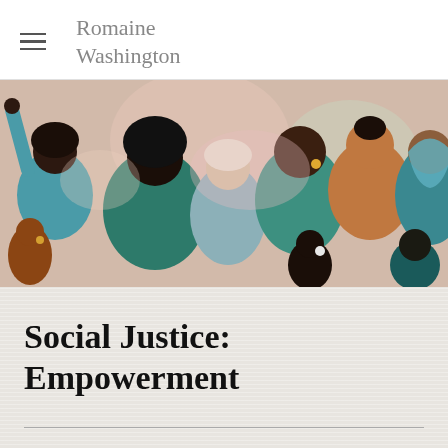Romaine Washington
[Figure (illustration): Colorful flat illustration of a diverse group of people standing together — various skin tones, hairstyles, and clothing. People are shown from shoulders up, facing different directions, with a warm palette of teal, pink, brown, beige, and blue tones.]
Social Justice: Empowerment